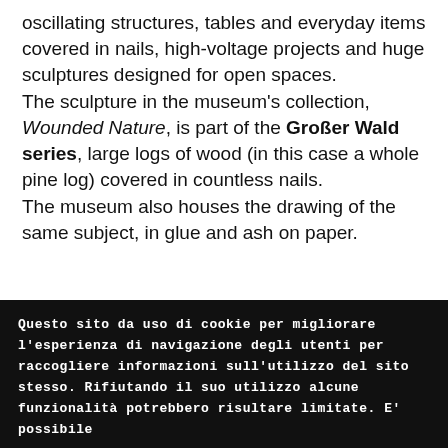oscillating structures, tables and everyday items covered in nails, high-voltage projects and huge sculptures designed for open spaces. The sculpture in the museum's collection, Wounded Nature, is part of the Großer Wald series, large logs of wood (in this case a whole pine log) covered in countless nails. The museum also houses the drawing of the same subject, in glue and ash on paper.
Questo sito da uso di cookie per migliorare l'esperienza di navigazione degli utenti per raccogliere informazioni sull'utilizzo del sito stesso. Rifiutando il suo utilizzo alcune funzionalità potrebbero risultare limitate. E' possibile